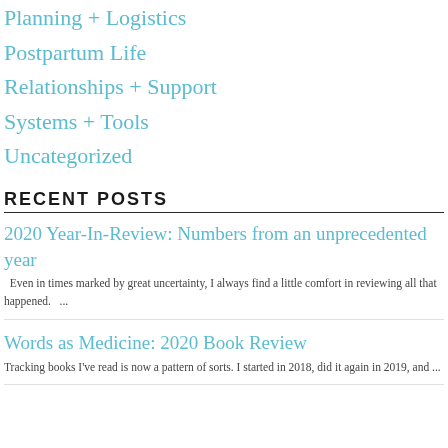Planning + Logistics
Postpartum Life
Relationships + Support
Systems + Tools
Uncategorized
RECENT POSTS
2020 Year-In-Review: Numbers from an unprecedented year
Even in times marked by great uncertainty, I always find a little comfort in reviewing all that happened.   ...
Words as Medicine: 2020 Book Review
Tracking books I've read is now a pattern of sorts. I started in 2018, did it again in 2019, and ...